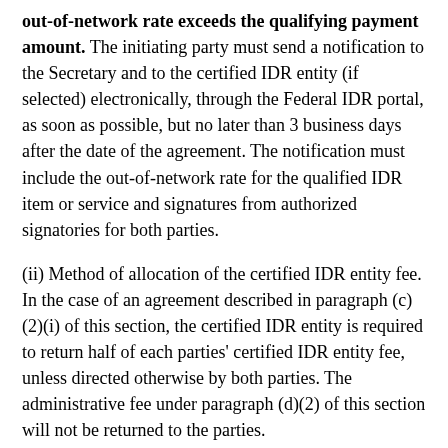out-of-network rate exceeds the qualifying payment amount. The initiating party must send a notification to the Secretary and to the certified IDR entity (if selected) electronically, through the Federal IDR portal, as soon as possible, but no later than 3 business days after the date of the agreement. The notification must include the out-of-network rate for the qualified IDR item or service and signatures from authorized signatories for both parties.
(ii) Method of allocation of the certified IDR entity fee. In the case of an agreement described in paragraph (c)(2)(i) of this section, the certified IDR entity is required to return half of each parties' certified IDR entity fee, unless directed otherwise by both parties. The administrative fee under paragraph (d)(2) of this section will not be returned to the parties.